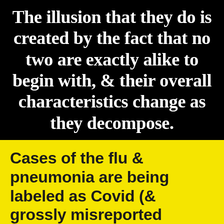The illusion that they do is created by the fact that no two are exactly alike to begin with, & their overall characteristics change as they decompose.
Cases of the flu & pneumonia are being labeled as Covid (& grossly misreported